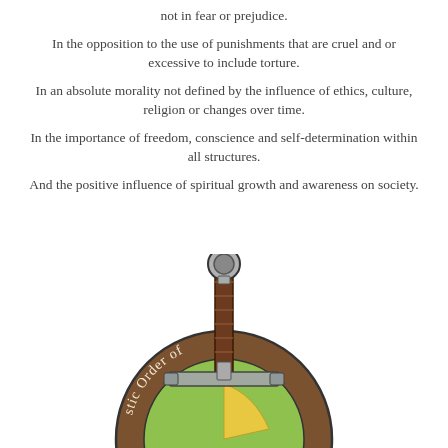not in fear or prejudice.
In the opposition to the use of punishments that are cruel and or excessive to include torture.
In an absolute morality not defined by the influence of ethics, culture, religion or changes over time.
In the importance of freedom, conscience and self-determination within all structures.
And the positive influence of spiritual growth and awareness on society.
[Figure (illustration): A medieval sword with a brown leather grip and circular pommel, plunged into a circular shield/emblem with text reading 'stic Order of' visible along the curved brown border, with a green and yellow interior. The emblem is partially cut off at the bottom of the page.]